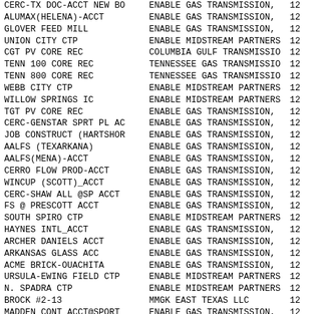| CERC-TX DOC-ACCT NEW BO | ENABLE GAS TRANSMISSION, | 12 |
| ALUMAX(HELENA)-ACCT | ENABLE GAS TRANSMISSION, | 12 |
| GLOVER FEED MILL | ENABLE GAS TRANSMISSION, | 12 |
| UNION CITY CTP | ENABLE MIDSTREAM PARTNERS | 12 |
| CGT PV CORE REC | COLUMBIA GULF TRANSMISSIO | 12 |
| TENN 100 CORE REC | TENNESSEE GAS TRANSMISSIO | 12 |
| TENN 800 CORE REC | TENNESSEE GAS TRANSMISSIO | 12 |
| WEBB CITY CTP | ENABLE MIDSTREAM PARTNERS | 12 |
| WILLOW SPRINGS IC | ENABLE MIDSTREAM PARTNERS | 12 |
| TGT PV CORE REC | ENABLE GAS TRANSMISSION, | 12 |
| CERC-GENSTAR SPRT PL AC | ENABLE GAS TRANSMISSION, | 12 |
| JOB CONSTRUCT (HARTSHOR | ENABLE GAS TRANSMISSION, | 12 |
| AALFS (TEXARKANA) | ENABLE GAS TRANSMISSION, | 12 |
| AALFS(MENA)-ACCT | ENABLE GAS TRANSMISSION, | 12 |
| CERRO FLOW PROD-ACCT | ENABLE GAS TRANSMISSION, | 12 |
| WINCUP (SCOTT)_ACCT | ENABLE GAS TRANSMISSION, | 12 |
| CERC-SHAW ALL @SP ACCT | ENABLE GAS TRANSMISSION, | 12 |
| FS @ PRESCOTT ACCT | ENABLE GAS TRANSMISSION, | 12 |
| SOUTH SPIRO CTP | ENABLE MIDSTREAM PARTNERS | 12 |
| HAYNES INTL_ACCT | ENABLE GAS TRANSMISSION, | 12 |
| ARCHER DANIELS ACCT | ENABLE GAS TRANSMISSION, | 12 |
| ARKANSAS GLASS ACC | ENABLE GAS TRANSMISSION, | 12 |
| ACME BRICK-OUACHITA | ENABLE GAS TRANSMISSION, | 12 |
| URSULA-EWING FIELD CTP | ENABLE MIDSTREAM PARTNERS | 12 |
| N. SPADRA CTP | ENABLE MIDSTREAM PARTNERS | 12 |
| BROCK #2-13 | MMGK EAST TEXAS LLC | 12 |
| MADDEN CONT_ACCT@SPORT | ENABLE GAS TRANSMISSION, | 12 |
| TYSON EMMETT SANDERS PB | ENABLE GAS TRANSMISSION, | 12 |
| BUSTER CONCRETE | ENABLE GAS TRANSMISSION, | 12 |
| OZARK SUMMARY CTP | ENABLE MIDSTREAM PARTNERS | 12 |